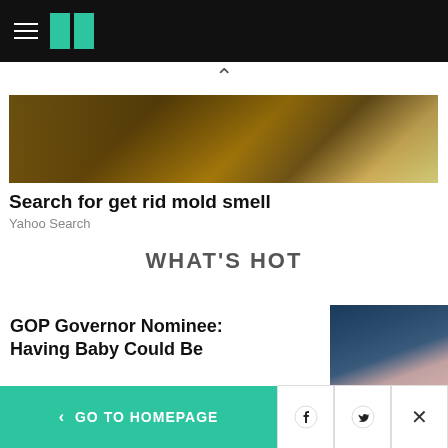HuffPost navigation bar
[Figure (photo): Attic or roof space with wooden beams, mold visible, and a white spray bottle]
Search for get rid mold smell
Yahoo Search
WHAT'S HOT
GOP Governor Nominee: Having Baby Could Be
[Figure (photo): Headshot of a woman with dark hair against a blue background]
< GO TO HOMEPAGE